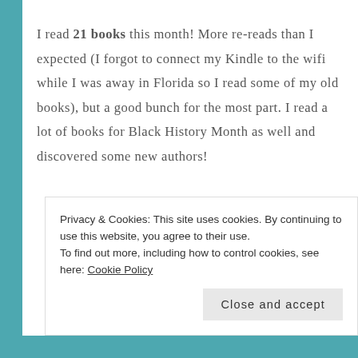I read 21 books this month! More re-reads than I expected (I forgot to connect my Kindle to the wifi while I was away in Florida so I read some of my old books), but a good bunch for the most part. I read a lot of books for Black History Month as well and discovered some new authors!
Privacy & Cookies: This site uses cookies. By continuing to use this website, you agree to their use.
To find out more, including how to control cookies, see here: Cookie Policy
Close and accept